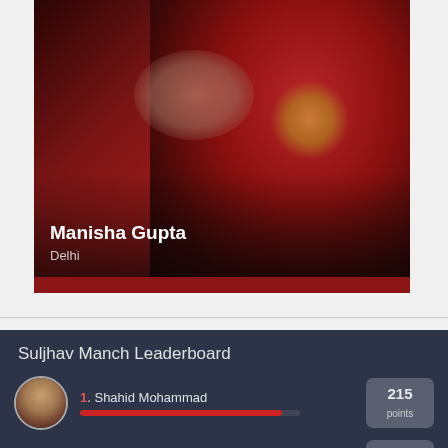[Figure (photo): Profile photo of Manisha Gupta wearing a dark red/maroon saree with embroidery and a necklace, located in Delhi]
Manisha Gupta
Delhi
Suljhav Manch Leaderboard
[Figure (photo): Circular avatar photo of Shahid Mohammad]
1. Shahid Mohammad
215 points
2. Sangeeta Mehrotra
201 points